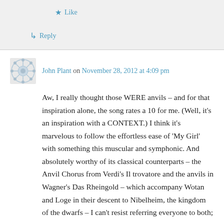★ Like
↳ Reply
John Plant on November 28, 2012 at 4:09 pm
Aw, I really thought those WERE anvils – and for that inspiration alone, the song rates a 10 for me. (Well, it's an inspiration with a CONTEXT.) I think it's marvelous to follow the effortless ease of 'My Girl' with something this muscular and symphonic. And absolutely worthy of its classical counterparts – the Anvil Chorus from Verdi's Il trovatore and the anvils in Wagner's Das Rheingold – which accompany Wotan and Loge in their descent to Nibelheim, the kingdom of the dwarfs – I can't resist referring everyone to both;